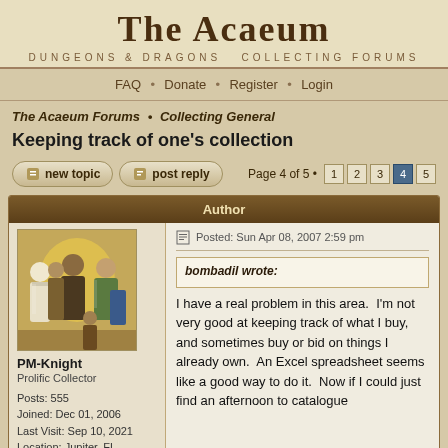The Acaeum — Dungeons & Dragons Collecting Forums
FAQ • Donate • Register • Login
The Acaeum Forums • Collecting General
Keeping track of one's collection
new topic  post reply  Page 4 of 5 • 1 2 3 4 5
Author
[Figure (illustration): Fantasy illustration showing medieval/RPG characters in a group scene]
PM-Knight
Prolific Collector

Posts: 555
Joined: Dec 01, 2006
Last Visit: Sep 10, 2021
Location: Jupiter, FL
Posted: Sun Apr 08, 2007 2:59 pm
bombadil wrote:
I have a real problem in this area.  I'm not very good at keeping track of what I buy, and sometimes buy or bid on things I already own.  An Excel spreadsheet seems like a good way to do it.  Now if I could just find an afternoon to catalogue